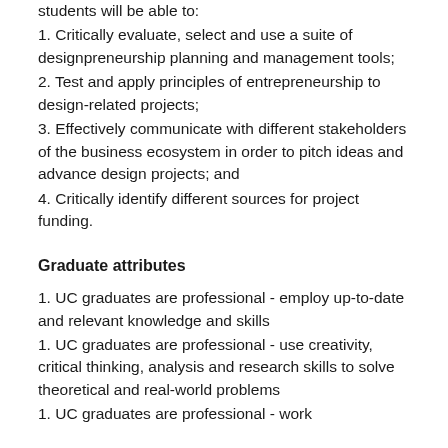students will be able to:
1. Critically evaluate, select and use a suite of designpreneurship planning and management tools;
2. Test and apply principles of entrepreneurship to design-related projects;
3. Effectively communicate with different stakeholders of the business ecosystem in order to pitch ideas and advance design projects; and
4. Critically identify different sources for project funding.
Graduate attributes
1. UC graduates are professional - employ up-to-date and relevant knowledge and skills
1. UC graduates are professional - use creativity, critical thinking, analysis and research skills to solve theoretical and real-world problems
1. UC graduates are professional - work